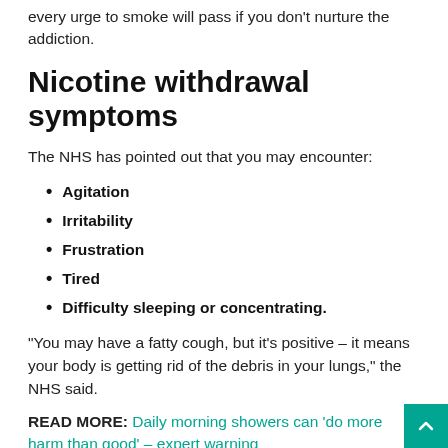every urge to smoke will pass if you don't nurture the addiction.
Nicotine withdrawal symptoms
The NHS has pointed out that you may encounter:
Agitation
Irritability
Frustration
Tired
Difficulty sleeping or concentrating.
“You may have a fatty cough, but it’s positive – it means your body is getting rid of the debris in your lungs,” the NHS said.
READ MORE: Daily morning showers can ‘do more harm than good’ – expert warning
You may find that exercising from this historic stage becomes easier and easier, as the shortness of breath begins to subside.